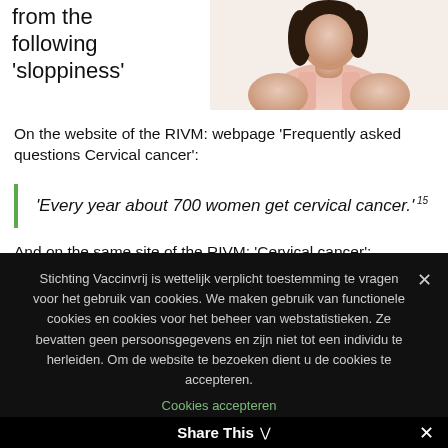from the following 'sloppiness'
[Figure (photo): Woman wearing a pink tank top, shoulder and neck visible, dark hair]
On the website of the RIVM: webpage 'Frequently asked questions Cervical cancer':
'Every year about 700 women get cervical cancer.' 15
And on the same site of the RIVM: 'Cervical cancer':
Stichting Vaccinvrij is wettelijk verplicht toestemming te vragen voor het gebruik van cookies. We maken gebruik van functionele cookies en cookies voor het beheer van webstatistieken. Ze bevatten geen persoonsgegevens en zijn niet tot een individu te herleiden. Om de website te bezoeken dient u de cookies te accepteren.
Cookies accepteren
Share This